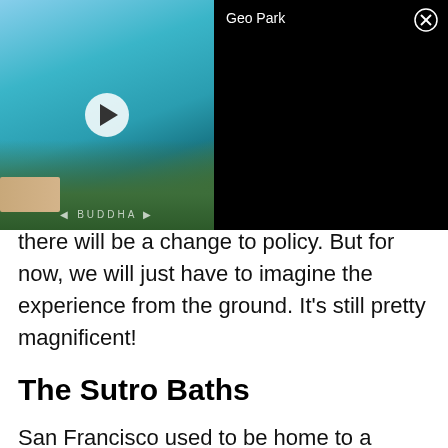[Figure (screenshot): Video thumbnail showing a scenic view of a bay with green hills, blue water, and a dam structure. A white play button circle is centered on the image. Text below reads 'BUDDHA'. Right side is a black panel with 'Geo Park' label and a close/X button.]
there will be a change to policy. But for now, we will just have to imagine the experience from the ground. It's still pretty magnificent!
The Sutro Baths
San Francisco used to be home to a massive swimming complex. It was called the Sutro Baths, and it was full of